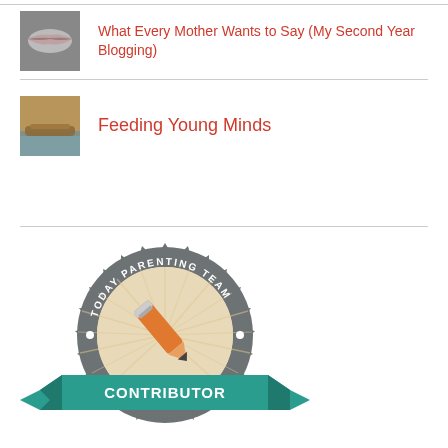[Figure (photo): Small thumbnail of lips/mouth, top-left of first entry row]
What Every Mother Wants to Say (My Second Year Blogging)
[Figure (photo): Small thumbnail of a boat or wooden surface near water]
Feeding Young Minds
[Figure (logo): Today Parenting Team Contributor badge - circular seal with pencil graphic and teal ribbon banner reading CONTRIBUTOR]